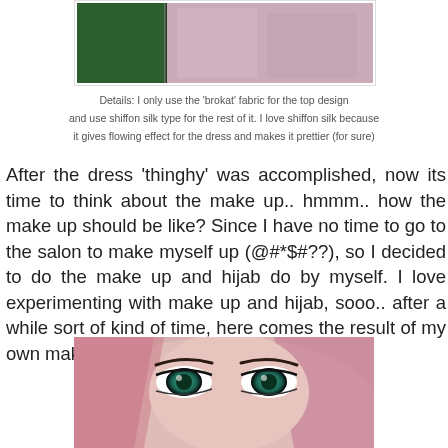[Figure (photo): Photo of fabric/dress, showing green and pink/mauve materials]
Details: I only use the 'brokat' fabric for the top design and use shiffon silk type for the rest of it. I love shiffon silk because it gives flowing effect for the dress and makes it prettier (for sure)
After the dress 'thinghy' was accomplished, now its time to think about the make up.. hmmm.. how the make up should be like? Since I have no time to go to the salon to make myself up (@#*$#??), so I decided to do the make up and hijab do by myself. I love experimenting with make up and hijab, sooo.. after a while sort of kind of time, here comes the result of my own make up and hijab do.. tadaaaaaaa!!!
[Figure (photo): Close-up photo of a woman's eyes with makeup and pink hijab]